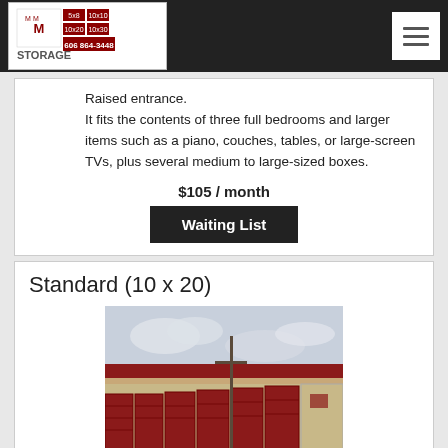M&M Storage 606 864-3448
Raised entrance.
It fits the contents of three full bedrooms and larger items such as a piano, couches, tables, or large-screen TVs, plus several medium to large-sized boxes.
$105 / month
Waiting List
Standard (10 x 20)
[Figure (photo): Exterior photo of a storage facility showing a row of units with dark red roll-up doors and tan/beige metal siding under a cloudy sky]
It fits the contents of a multi-bedroom house, including several oversized